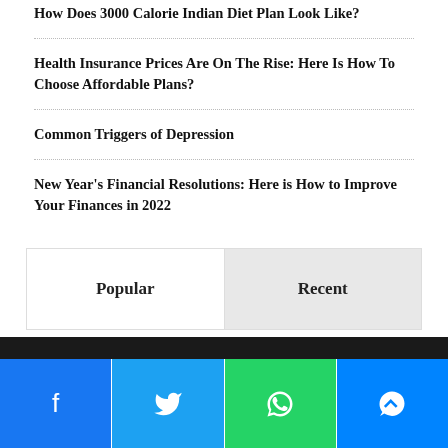How Does 3000 Calorie Indian Diet Plan Look Like?
Health Insurance Prices Are On The Rise: Here Is How To Choose Affordable Plans?
Common Triggers of Depression
New Year's Financial Resolutions: Here is How to Improve Your Finances in 2022
Popular | Recent
Facebook | Twitter | WhatsApp | Messenger